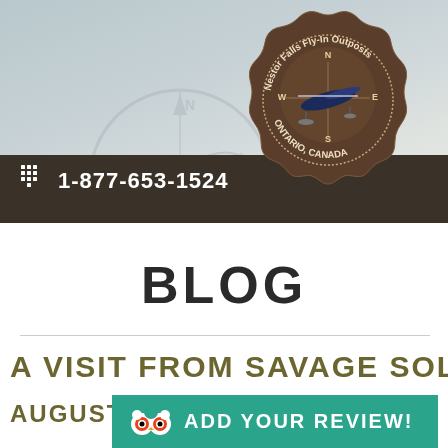[Figure (logo): Nestor Falls Fly-In Outposts circular badge logo with seaplane and compass, Ontario Canada, brown scalloped border]
☎ 1-877-653-1524
BLOG
A VISIT FROM SAVAGE SOLUTIO
AUGUST 1
[Figure (other): TripAdvisor ADD YOUR REVIEW! green button with TripAdvisor owl icon]